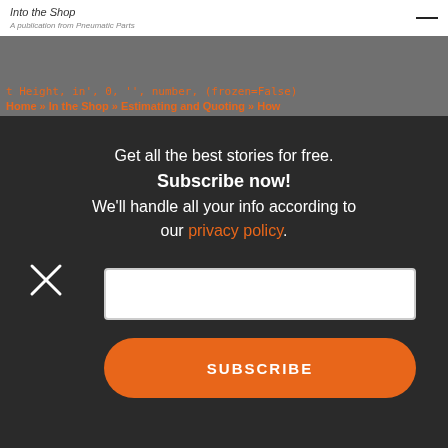[Figure (screenshot): Website header with logo and hamburger menu icon]
t Height, in', 0, '', number, (frozen=False)
Home » In the Shop » Estimating and Quoting » How
Get all the best stories for free.
Subscribe now!
We'll handle all your info according to our privacy policy.
[Figure (other): Close (X) button icon]
[Figure (other): Email input field (white rectangle)]
SUBSCRIBE